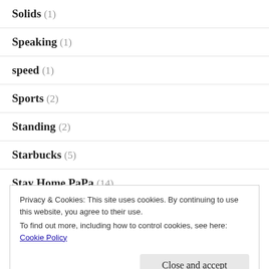Solids (1)
Speaking (1)
speed (1)
Sports (2)
Standing (2)
Starbucks (5)
Stay Home PaPa (14)
Privacy & Cookies: This site uses cookies. By continuing to use this website, you agree to their use.
To find out more, including how to control cookies, see here: Cookie Policy
Close and accept